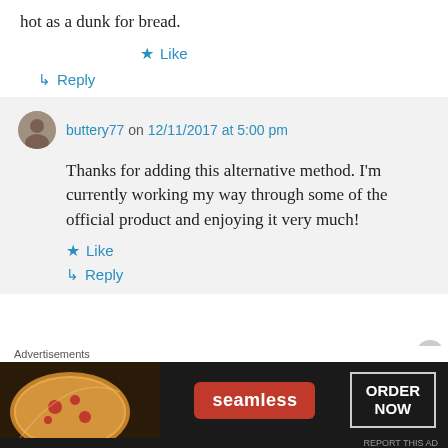hot as a dunk for bread.
★ Like
↳ Reply
buttery77 on 12/11/2017 at 5:00 pm
Thanks for adding this alternative method. I'm currently working my way through some of the official product and enjoying it very much!
★ Like
↳ Reply
Advertisements
[Figure (screenshot): Seamless food delivery advertisement banner with pizza image, seamless logo, and ORDER NOW button]